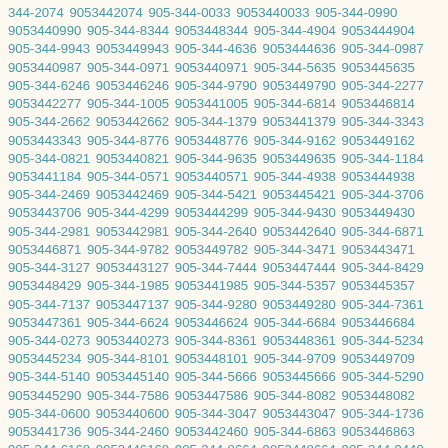344-2074 9053442074 905-344-0033 9053440033 905-344-0990 9053440990 905-344-8344 9053448344 905-344-4904 9053444904 905-344-9943 9053449943 905-344-4636 9053444636 905-344-0987 9053440987 905-344-0971 9053440971 905-344-5635 9053445635 905-344-6246 9053446246 905-344-9790 9053449790 905-344-2277 9053442277 905-344-1005 9053441005 905-344-6814 9053446814 905-344-2662 9053442662 905-344-1379 9053441379 905-344-3343 9053443343 905-344-8776 9053448776 905-344-9162 9053449162 905-344-0821 9053440821 905-344-9635 9053449635 905-344-1184 9053441184 905-344-0571 9053440571 905-344-4938 9053444938 905-344-2469 9053442469 905-344-5421 9053445421 905-344-3706 9053443706 905-344-4299 9053444299 905-344-9430 9053449430 905-344-2981 9053442981 905-344-2640 9053442640 905-344-6871 9053446871 905-344-9782 9053449782 905-344-3471 9053443471 905-344-3127 9053443127 905-344-7444 9053447444 905-344-8429 9053448429 905-344-1985 9053441985 905-344-5357 9053445357 905-344-7137 9053447137 905-344-9280 9053449280 905-344-7361 9053447361 905-344-6624 9053446624 905-344-6684 9053446684 905-344-0273 9053440273 905-344-8361 9053448361 905-344-5234 9053445234 905-344-8101 9053448101 905-344-9709 9053449709 905-344-5140 9053445140 905-344-5666 9053445666 905-344-5290 9053445290 905-344-7586 9053447586 905-344-8082 9053448082 905-344-0600 9053440600 905-344-3047 9053443047 905-344-1736 9053441736 905-344-2460 9053442460 905-344-6863 9053446863 905-344-6168 9053446168 905-344-8664 9053448664 905-344-9440 9053449440 905-344-3915 9053443915 905-344-7244 9053447244 905-344-2858 9053442858 905-344-1868 9053441868 905-344-6455